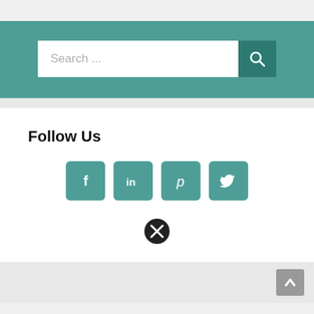[Figure (screenshot): Search bar with teal background, text field showing 'Search ...' placeholder and a dark teal search button with magnifying glass icon]
Follow Us
[Figure (infographic): Four teal social media icon buttons: Facebook (f), LinkedIn (in), Pinterest (p), Twitter bird icon]
[Figure (other): Black circle with white X (close) icon]
[Figure (other): Gray scroll-to-top button with upward chevron arrow]